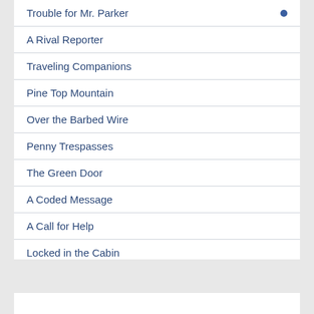Trouble for Mr. Parker
A Rival Reporter
Traveling Companions
Pine Top Mountain
Over the Barbed Wire
Penny Trespasses
The Green Door
A Coded Message
A Call for Help
Locked in the Cabin
A Newspaper Mystery
The Green Card